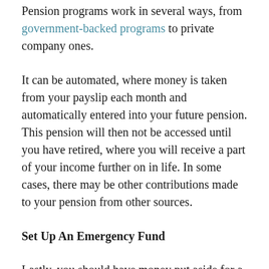Pension programs work in several ways, from government-backed programs to private company ones.
It can be automated, where money is taken from your payslip each month and automatically entered into your future pension. This pension will then not be accessed until you have retired, where you will receive a part of your income further on in life. In some cases, there may be other contributions made to your pension from other sources.
Set Up An Emergency Fund
Lastly, you should have money put aside for a rainy day. This means that if there is ever an emergency, such as your car being broken or a medical emergency, you will be best equipped to afford it without going bankrupt.